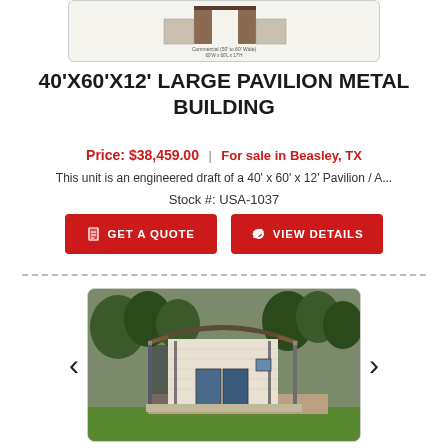[Figure (illustration): Top partial product image showing a metal building schematic diagram with label 'Commercial (50' to 60' Wide)' and dimensions '60'W x 60'L x 17'H']
40'X60'X12' LARGE PAVILION METAL BUILDING
Price: $38,459.00 | For sale in Beasley, TX
This unit is an engineered draft of a 40' x 60' x 12' Pavilion / A...
Stock #: USA-1037
GET A QUOTE  VIEW DETAILS
[Figure (photo): Large pavilion metal building photo showing a white metal building with a covered open-sided pavilion area, set on a gravel/dirt area with green grass in the foreground and trees in the background]